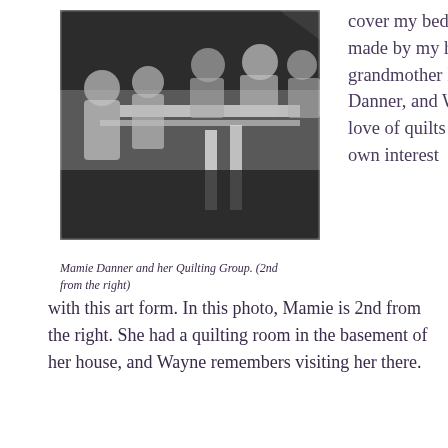[Figure (photo): Black and white photograph of Mamie Danner and her Quilting Group sitting around a quilting frame/table, with five women visible, 2nd from the right is Mamie Danner.]
Mamie Danner and her Quilting Group. (2nd from the right)
cover my bed with quilts made by my husband's grandmother Mamie Danner, and Wayne's love of quilts piqued my own interest with this art form. In this photo, Mamie is 2nd from the right. She had a quilting room in the basement of her house, and Wayne remembers visiting her there.